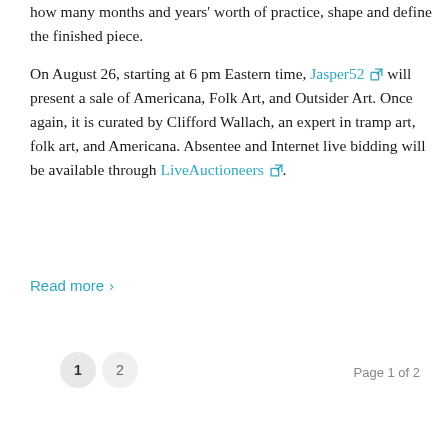how many months and years' worth of practice, shape and define the finished piece.

On August 26, starting at 6 pm Eastern time, Jasper52 will present a sale of Americana, Folk Art, and Outsider Art. Once again, it is curated by Clifford Wallach, an expert in tramp art, folk art, and Americana. Absentee and Internet live bidding will be available through LiveAuctioneers.
Read more ›
Page 1 of 2